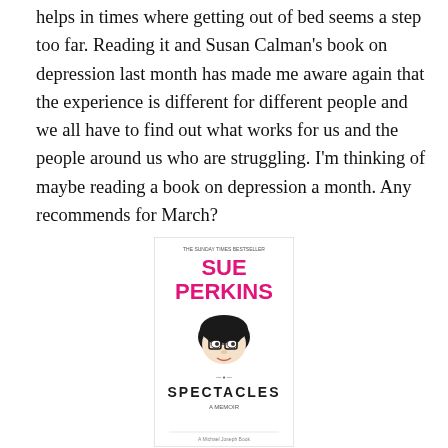helps in times where getting out of bed seems a step too far. Reading it and Susan Calman's book on depression last month has made me aware again that the experience is different for different people and we all have to find out what works for us and the people around us who are struggling. I'm thinking of maybe reading a book on depression a month. Any recommends for March?
[Figure (photo): Book cover of 'Spectacles' by Sue Perkins. Pink and white cover with a cartoon illustration of a face with dark hair and glasses. The title 'SPECTACLES' is printed in bold and 'SUE PERKINS' in large pink letters at the top.]
Spectacles- Sue Perkins
I really enjoyed this. Mainly for her descriptions of life with her family and tales of uni days that sparked off my own nostalgia fest.